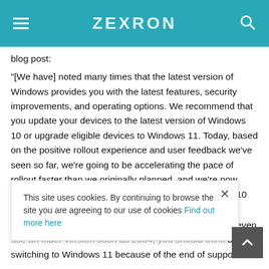ZEXRON
blog post:
"[We have] noted many times that the latest version of Windows provides you with the latest features, security improvements, and operating options. We recommend that you update your devices to the latest version of Windows 10 or upgrade eligible devices to Windows 11. Today, based on the positive rollout experience and user feedback we've seen so far, we're going to be accelerating the pace of rollout faster than we originally planned, and we're now upgrading to Windows 11 for a wider group of Windows 10 Devices accessible."
So if you are currently still using Windows 10 and may even use an older version such as 2004, you should think about switching to Windows 11 because of the end of support for
This site uses cookies. By continuing to browse the site you are agreeing to our use of cookies Find out more here